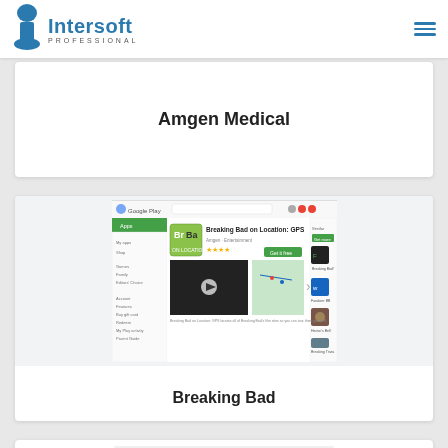[Figure (logo): Intersoft Professional logo with stylized 'i' icon and blue text]
Amgen Medical
[Figure (screenshot): Screenshot of Google Play Store page showing 'Breaking Bad on Location: GPS' app with sidebar navigation, app icon, screenshots, and related apps]
Breaking Bad
[Figure (screenshot): Partial screenshot of another Google Play Store page, bottom cut off]